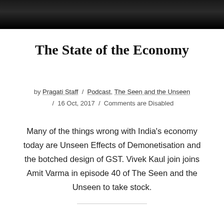[Figure (photo): Dark header image with gradient from dark gray to black]
The State of the Economy
by Pragati Staff / Podcast, The Seen and the Unseen / 16 Oct, 2017 / Comments are Disabled
Many of the things wrong with India's economy today are Unseen Effects of Demonetisation and the botched design of GST. Vivek Kaul join joins Amit Varma in episode 40 of The Seen and the Unseen to take stock.